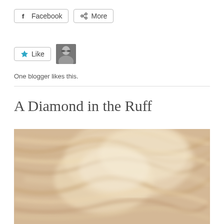[Figure (screenshot): Facebook and More share buttons with rounded rectangle borders]
[Figure (screenshot): Like button with teal star icon and blogger avatar photo (woman with sunglasses)]
One blogger likes this.
A Diamond in the Ruff
[Figure (photo): Close-up blurry photo of golden/cream colored animal fur, likely a dog]